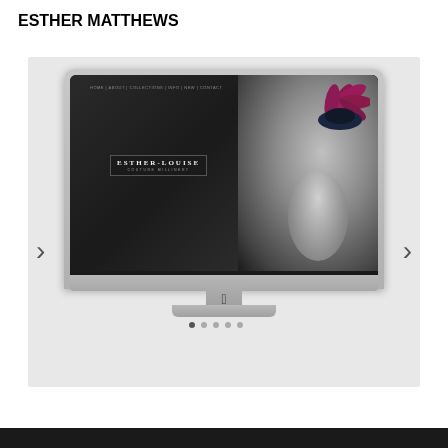ESTHER MATTHEWS
[Figure (screenshot): Screenshot of Esther-Louise Couture Millinery website displayed on an Apple iMac mockup. The website shows a black and white photo of a woman wearing a dramatic dark navy and deep magenta/purple fascinator hat with large ribbon bows. The site navigation reads: HOME | ABOUT | COLLECTIONS | INFO | NEW | CONTACT. The brand name 'ESTHER-LOUISE' is displayed in a dark box with 'COUTURE MILLINERY' beneath it. A carousel with navigation arrows and dot indicators is shown below the iMac.]